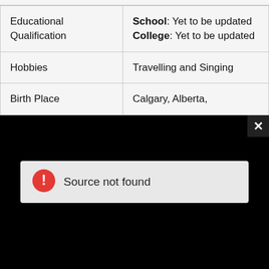| Educational Qualification | School: Yet to be updated
College: Yet to be updated |
| Hobbies | Travelling and Singing |
| Birth Place | Calgary, Alberta, |
[Figure (screenshot): Black overlay panel with a 'Source not found' error message box containing a red circle exclamation icon, and a close (X) button in top-right corner]